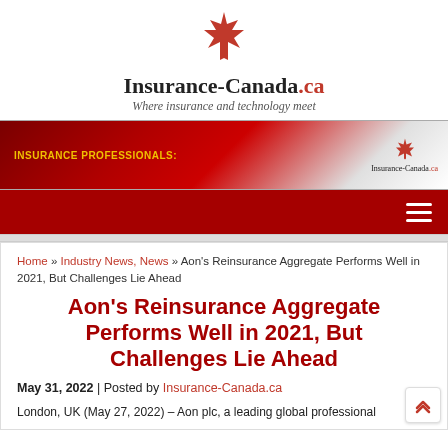[Figure (logo): Insurance-Canada.ca logo with red maple leaf and tagline 'Where insurance and technology meet']
[Figure (illustration): Red banner with 'INSURANCE PROFESSIONALS:' text in gold and Insurance-Canada.ca logo on right with maple leaf]
Home » Industry News, News » Aon's Reinsurance Aggregate Performs Well in 2021, But Challenges Lie Ahead
Aon's Reinsurance Aggregate Performs Well in 2021, But Challenges Lie Ahead
May 31, 2022 | Posted by Insurance-Canada.ca
London, UK (May 27, 2022) – Aon plc, a leading global professional